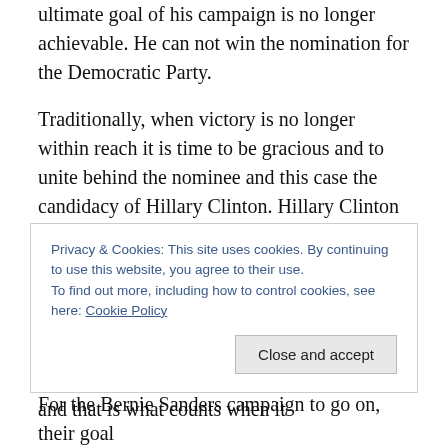ultimate goal of his campaign is no longer achievable. He can not win the nomination for the Democratic Party.
Traditionally, when victory is no longer within reach it is time to be gracious and to unite behind the nominee and this case the candidacy of Hillary Clinton. Hillary Clinton was gracious in defeat 8 years ago, and brought unity to the party by joining hands with her opponent at the end of her campaign. She and Barack Obama had a heated campaign. Hillary Clinton got a few more votes but she did not win the most delegates and that is what counts when it
Privacy & Cookies: This site uses cookies. By continuing to use this website, you agree to their use.
To find out more, including how to control cookies, see here: Cookie Policy
Close and accept
For the Bernie Sanders campaign to go on, their goal